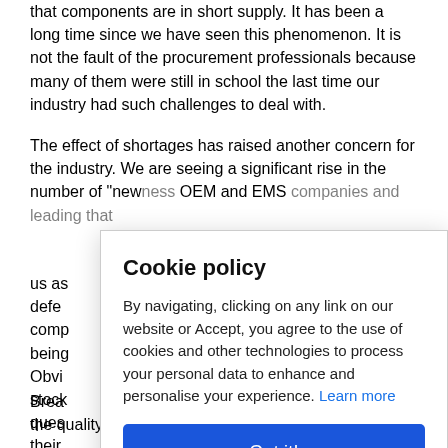that components are in short supply. It has been a long time since we have seen this phenomenon. It is not the fault of the procurement professionals because many of them were still in school the last time our industry had such challenges to deal with.
The effect of shortages has raised another concern for the industry. We are seeing a significant rise in the number of "new" ... OEM and EMS companies ... us as ... defe... comp... being... Obvi... stoc... ques... their...
Cookie policy
By navigating, clicking on any link on our website or Accept, you agree to the use of cookies and other technologies to process your personal data to enhance and personalise your experience. Learn more
Got it!
Brea... risk of counterfeits. We are confident in the quality of the